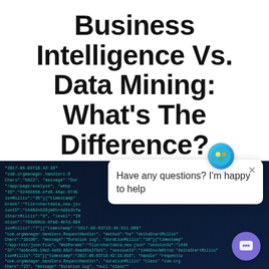Business Intelligence Vs. Data Mining: What's The Difference?
written by Danine Midura   authored on September 7, 2021
[Figure (photo): Author headshot of Danine Midura, a woman with short dark hair wearing a red top]
[Figure (screenshot): Dark blue background with scrolling JSON/log code text, representing data or programming context. A chat bubble overlay reads: 'Have any questions? I'm happy to help' with a close button and a chat launcher icon in the bottom right corner.]